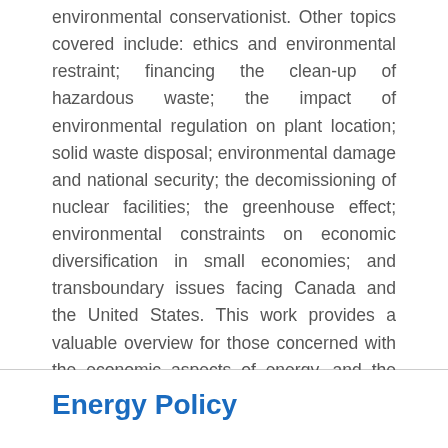environmental conservationist. Other topics covered include: ethics and environmental restraint; financing the clean-up of hazardous waste; the impact of environmental regulation on plant location; solid waste disposal; environmental damage and national security; the decomissioning of nuclear facilities; the greenhouse effect; environmental constraints on economic diversification in small economies; and transboundary issues facing Canada and the United States. This work provides a valuable overview for those concerned with the economic aspects of energy, and the environment, including policy-makers in business, government, and academia.
Energy Policy